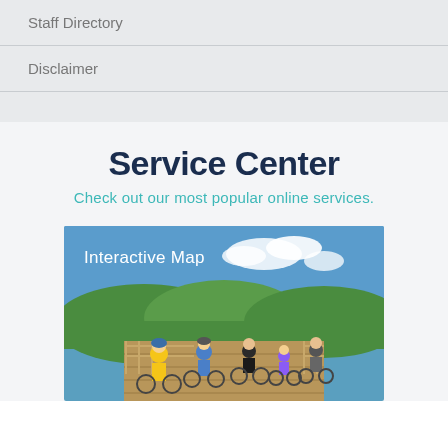Staff Directory
Disclaimer
Service Center
Check out our most popular online services.
[Figure (photo): People riding bicycles on a wooden boardwalk with green vegetation and blue sky in the background. Text overlay reads 'Interactive Map'.]